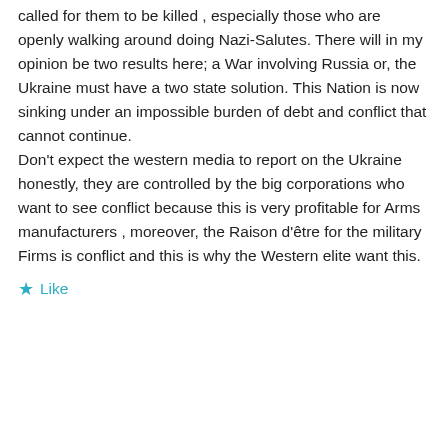called for them to be killed , especially those who are openly walking around doing Nazi-Salutes. There will in my opinion be two results here; a War involving Russia or, the Ukraine must have a two state solution. This Nation is now sinking under an impossible burden of debt and conflict that cannot continue.
Don't expect the western media to report on the Ukraine honestly, they are controlled by the big corporations who want to see conflict because this is very profitable for Arms manufacturers , moreover, the Raison d'être for the military Firms is conflict and this is why the Western elite want this.
Like